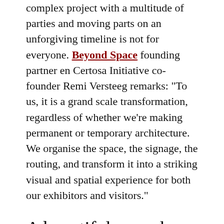complex project with a multitude of parties and moving parts on an unforgiving timeline is not for everyone. Beyond Space founding partner en Certosa Initiative co-founder Remi Versteeg remarks: “To us, it is a grand scale transformation, regardless of whether we’re making permanent or temporary architecture. We organise the space, the signage, the routing, and transform it into a striking visual and spatial experience for both our exhibitors and visitors.”
A beautiful cacophony
A decidedly architectural intervention makes it so: Beyond Space deploys floor-to-ceiling, semi-transparent cloth to divvy up the vast space into a